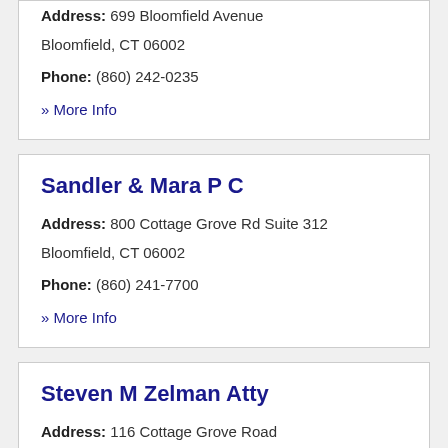Address: 699 Bloomfield Avenue Bloomfield, CT 06002
Phone: (860) 242-0235
» More Info
Sandler & Mara P C
Address: 800 Cottage Grove Rd Suite 312 Bloomfield, CT 06002
Phone: (860) 241-7700
» More Info
Steven M Zelman Atty
Address: 116 Cottage Grove Road Bloomfield, CT 06002